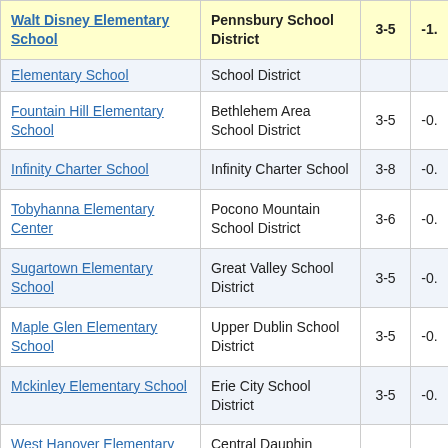| School | District | Grades | Score |
| --- | --- | --- | --- |
| Walt Disney Elementary School | Pennsbury School District | 3-5 | -1. |
| Elementary School (truncated) | School District (truncated) |  |  |
| Fountain Hill Elementary School | Bethlehem Area School District | 3-5 | -0. |
| Infinity Charter School | Infinity Charter School | 3-8 | -0. |
| Tobyhanna Elementary Center | Pocono Mountain School District | 3-6 | -0. |
| Sugartown Elementary School | Great Valley School District | 3-5 | -0. |
| Maple Glen Elementary School | Upper Dublin School District | 3-5 | -0. |
| Mckinley Elementary School | Erie City School District | 3-5 | -0. |
| West Hanover Elementary School | Central Dauphin School District | 3-5 | -0. |